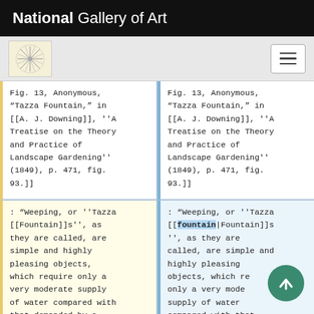National Gallery of Art
Fig. 13, Anonymous, “Tazza Fountain,” in [[A. J. Downing]], ''A Treatise on the Theory and Practice of Landscape Gardening'' (1849), p. 471, fig. 93.]]
Fig. 13, Anonymous, “Tazza Fountain,” in [[A. J. Downing]], ''A Treatise on the Theory and Practice of Landscape Gardening'' (1849), p. 471, fig. 93.]]
: “Weeping, or ''Tazza [[Fountain]]s'', as they are called, are simple and highly pleasing objects, which require only a very moderate supply of water compared with that demanded by a
: “Weeping, or ''Tazza [[fountain|Fountain]]s'', as they are called, are simple and highly pleasing objects, which require only a very moderate supply of water compared with that